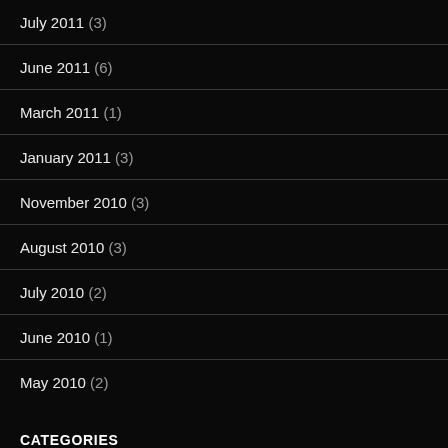July 2011 (3)
June 2011 (6)
March 2011 (1)
January 2011 (3)
November 2010 (3)
August 2010 (3)
July 2010 (2)
June 2010 (1)
May 2010 (2)
CATEGORIES
alchemy (35)